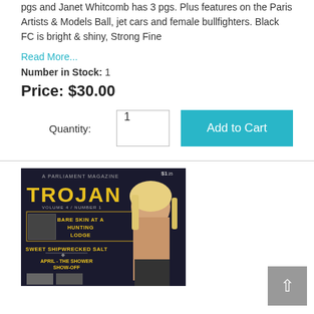pgs and Janet Whitcomb has 3 pgs. Plus features on the Paris Artists & Models Ball, jet cars and female bullfighters. Black FC is bright & shiny, Strong Fine
Read More...
Number in Stock: 1
Price: $30.00
Quantity: 1  Add to Cart
[Figure (photo): Magazine cover of TROJAN (A Parliament Magazine), Volume 4, Number 1. Features a blonde woman on the cover. Text on cover: BARE SKIN AT A HUNTING LODGE, SWEET SHIPWRECKED SALT, APRIL - THE SHOWER SHOW-OFF. Price $1.25.]